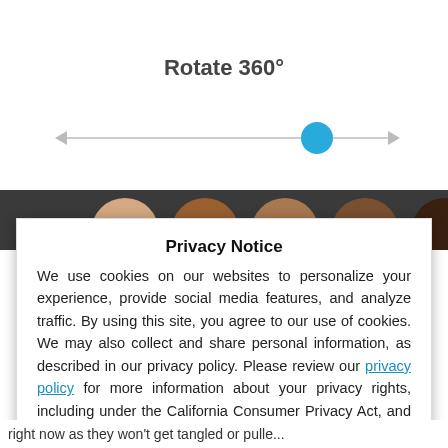Rotate 360°
[Figure (illustration): A horizontal slider control with left and right arrow ends. A blue circle handle is positioned about 70% to the right. Below the slider are six color swatches ranging from light beige to dark black (skin tone palette), partially obscured by a dark strip.]
Privacy Notice
We use cookies on our websites to personalize your experience, provide social media features, and analyze traffic. By using this site, you agree to our use of cookies. We may also collect and share personal information, as described in our privacy policy. Please review our privacy policy for more information about your privacy rights, including under the California Consumer Privacy Act, and the General Data Protection Regulation.
Ok
right now as they won't get tangled or pulle...